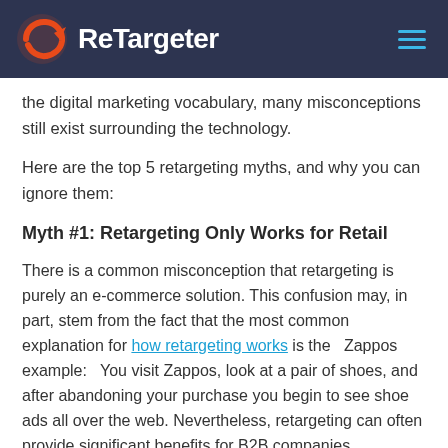ReTargeter
the digital marketing vocabulary, many misconceptions still exist surrounding the technology.
Here are the top 5 retargeting myths, and why you can ignore them:
Myth #1: Retargeting Only Works for Retail
There is a common misconception that retargeting is purely an e-commerce solution. This confusion may, in part, stem from the fact that the most common explanation for how retargeting works is the Zappos example: You visit Zappos, look at a pair of shoes, and after abandoning your purchase you begin to see shoe ads all over the web. Nevertheless, retargeting can often provide significant benefits for B2B companies